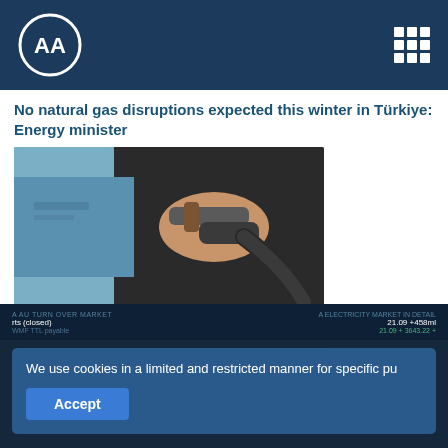AA (Anadolu Agency) logo and navigation
No natural gas disruptions expected this winter in Türkiye: Energy minister
[Figure (photo): Close-up photo of a hand holding a gas pump nozzle at a fuel station, with blue equipment in the background.]
Türkiye's liquefied petroleum gas imports up 17% in April
[Figure (photo): Partial photo showing blue sky with clouds, appears to be an outdoor industrial or energy-related scene.]
We use cookies in a limited and restricted manner for specific pu
Accept